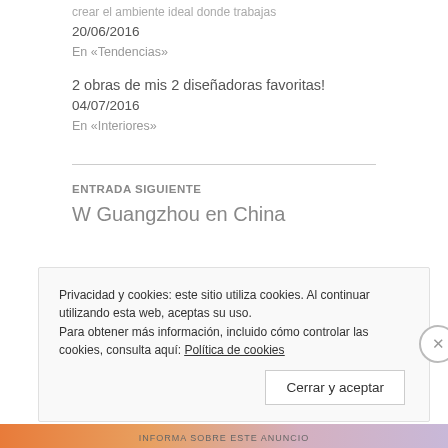crear el ambiente ideal donde trabajas
20/06/2016
En «Tendencias»
2 obras de mis 2 diseñadoras favoritas!
04/07/2016
En «Interiores»
ENTRADA SIGUIENTE
W Guangzhou en China
Privacidad y cookies: este sitio utiliza cookies. Al continuar utilizando esta web, aceptas su uso.
Para obtener más información, incluido cómo controlar las cookies, consulta aquí: Política de cookies
Cerrar y aceptar